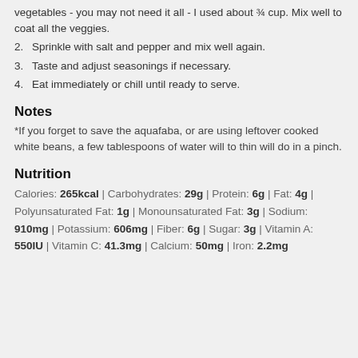vegetables - you may not need it all - I used about ¾ cup. Mix well to coat all the veggies.
2. Sprinkle with salt and pepper and mix well again.
3. Taste and adjust seasonings if necessary.
4. Eat immediately or chill until ready to serve.
Notes
*If you forget to save the aquafaba, or are using leftover cooked white beans, a few tablespoons of water will to thin will do in a pinch.
Nutrition
Calories: 265kcal | Carbohydrates: 29g | Protein: 6g | Fat: 4g | Polyunsaturated Fat: 1g | Monounsaturated Fat: 3g | Sodium: 910mg | Potassium: 606mg | Fiber: 6g | Sugar: 3g | Vitamin A: 550IU | Vitamin C: 41.3mg | Calcium: 50mg | Iron: 2.2mg